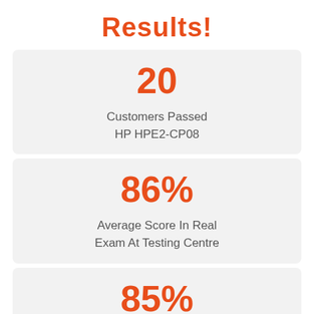Results!
20
Customers Passed HP HPE2-CP08
86%
Average Score In Real Exam At Testing Centre
85%